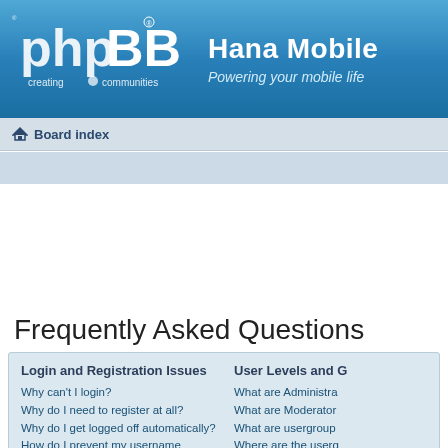[Figure (logo): phpBB logo - white text on blue gradient background reading 'phpBB creating communities']
Hana Mobile
Powering your mobile life
Board index
Frequently Asked Questions
Login and Registration Issues
Why can't I login?
Why do I need to register at all?
Why do I get logged off automatically?
How do I prevent my username appearing in the online user listings?
I've lost my password!
I registered but cannot login!
I registered in the past but cannot login any more?!
User Levels and G
What are Administrators
What are Moderators
What are usergroup
Where are the userg
How do I become a
Why do some userg
What is a "Default u
What is "The team"